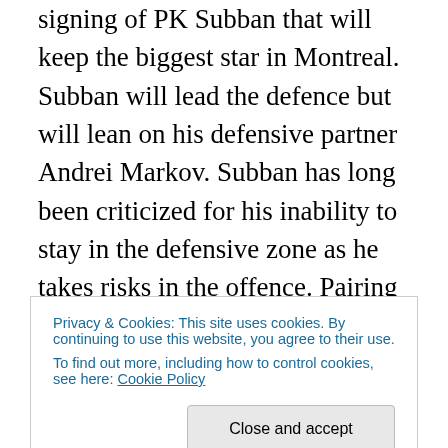signing of PK Subban that will keep the biggest star in Montreal. Subban will lead the defence but will lean on his defensive partner Andrei Markov. Subban has long been criticized for his inability to stay in the defensive zone as he takes risks in the offence. Pairing him with Markov has worked out as he provides the defensive stability to allow Subban to do what he does best and get involved in the offensive zone. The biggest issue for the defence will be to move on from Josh Gorges who provided another defensive stalwart that will be missed. The rest of the
Privacy & Cookies: This site uses cookies. By continuing to use this website, you agree to their use.
To find out more, including how to control cookies, see here: Cookie Policy
defence in the offseason as Daniel Briere and captain